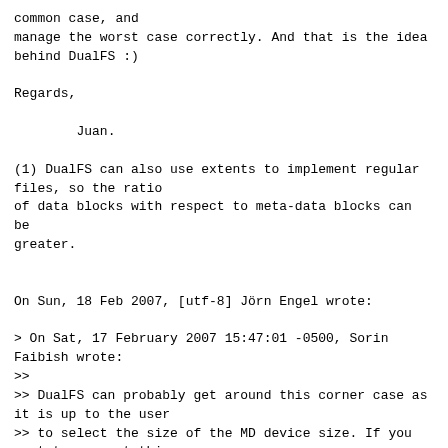common case, and
manage the worst case correctly. And that is the idea
behind DualFS :)

Regards,

        Juan.

(1) DualFS can also use extents to implement regular
files, so the ratio
of data blocks with respect to meta-data blocks can be
greater.


On Sun, 18 Feb 2007, [utf-8] Jörn Engel wrote:

> On Sat, 17 February 2007 15:47:01 -0500, Sorin
Faibish wrote:
>>
>> DualFS can probably get around this corner case as
it is up to the user
>> to select the size of the MD device size. If you
want to prevent this
>> corner case you can always use a device bigger than
10% of the data device
>> which is exagerate for any FS assuming that the
directory files are so
>> large (this is when you have billions of files with
long names).
>> In general the problem you mention is mainly due to
the data blocks.